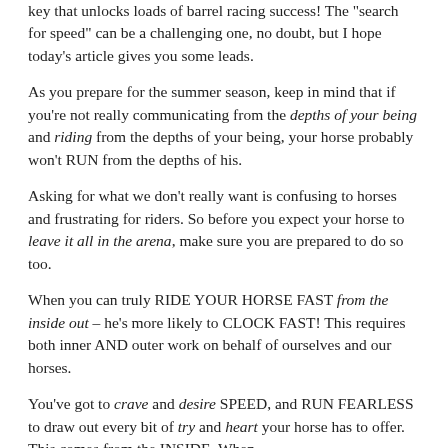key that unlocks loads of barrel racing success! The “search for speed” can be a challenging one, no doubt, but I hope today’s article gives you some leads.
As you prepare for the summer season, keep in mind that if you’re not really communicating from the depths of your being and riding from the depths of your being, your horse probably won’t RUN from the depths of his.
Asking for what we don’t really want is confusing to horses and frustrating for riders. So before you expect your horse to leave it all in the arena, make sure you are prepared to do so too.
When you can truly RIDE YOUR HORSE FAST from the inside out – he’s more likely to CLOCK FAST! This requires both inner AND outer work on behalf of ourselves and our horses.
You’ve got to crave and desire SPEED, and RUN FEARLESS to draw out every bit of try and heart your horse has to offer. This comes from the INSIDE. When